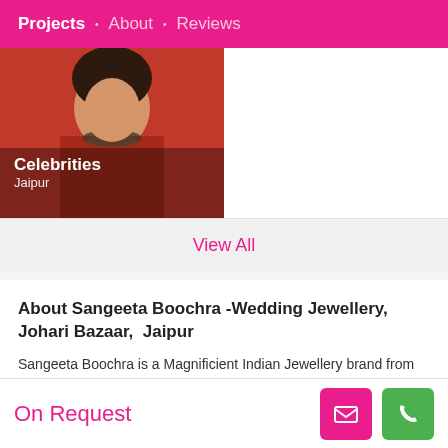Projects • About • Reviews
[Figure (photo): Photo of a woman in a red outfit under Celebrities / Jaipur category label]
View All
About Sangeeta Boochra -Wedding Jewellery, Johari Bazaar, Jaipur
Sangeeta Boochra is a Magnificient Indian Jewellery brand from the House of Silver Centrre Jaipur , established in the year 1897
Continue Reading
Been on WedMeGood Since
6 years 7 months
On Request